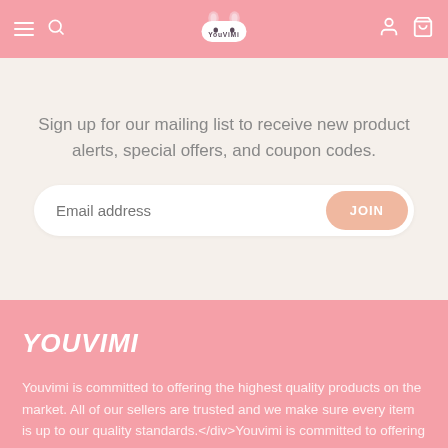Youvimi navigation header with hamburger menu, search, logo, user and cart icons
Sign up for our mailing list to receive new product alerts, special offers, and coupon codes.
[Figure (other): Email address input field with JOIN button]
YOUVIMI
Youvimi is committed to offering the highest quality products on the market. All of our sellers are trusted and we make sure every item is up to our quality standards.</div>Youvimi is committed to offering the highest quality products on the market. All of our sellers are trusted and we make sure every item is up to our quality standards.